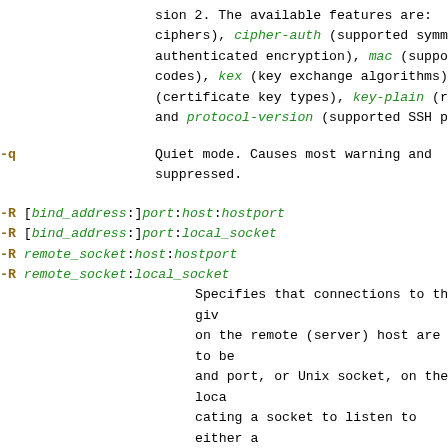sion 2.  The available features are: cipher (supported ciphers), cipher-auth (supported symmetrically authenticated encryption), mac (supported message integrity codes), kex (key exchange algorithms), key (certificate key types), key-plain (non-certificate) and protocol-version (supported SSH protocol versions).
-q   Quiet mode.  Causes most warning and diagnostic messages to be suppressed.
-R [bind_address:]port:host:hostport
-R [bind_address:]port:local_socket
-R remote_socket:host:hostport
-R remote_socket:local_socket
   Specifies that connections to the given TCP port or Unix socket on the remote (server) host are to be forwarded to the local side. and port, or Unix socket, on the local side, by allocating a socket to listen to either a TCP port or to a Unix socket on the remote side.  Whenever a connection is made to this port or Unix socket, the connection is forwarded over a secure channel, and a connection is made to host port hostport, or local_socket, from the local machine.
   Port forwardings can also be specified in the configuration file. Privileged ports can be forwarded only when logging in as root on the remote machine.  IPv6 addresses can be specified by enclosing the address in square brackets.